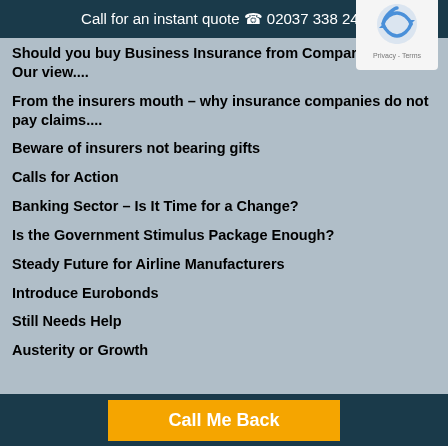Call for an instant quote 02037 338 240
Should you buy Business Insurance from Comparison Sites? Our view....
From the insurers mouth – why insurance companies do not pay claims....
Beware of insurers not bearing gifts
Calls for Action
Banking Sector – Is It Time for a Change?
Is the Government Stimulus Package Enough?
Steady Future for Airline Manufacturers
Introduce Eurobonds
Still Needs Help
Austerity or Growth
Call Me Back